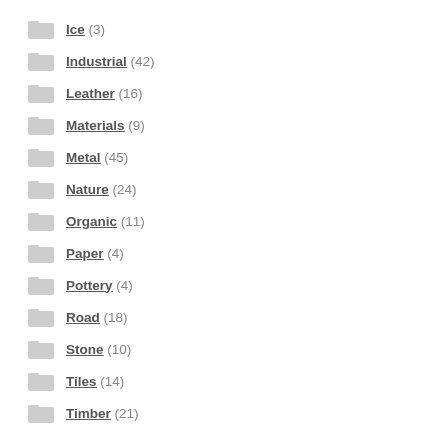Ice (3)
Industrial (42)
Leather (16)
Materials (9)
Metal (45)
Nature (24)
Organic (11)
Paper (4)
Pottery (4)
Road (18)
Stone (10)
Tiles (14)
Timber (21)